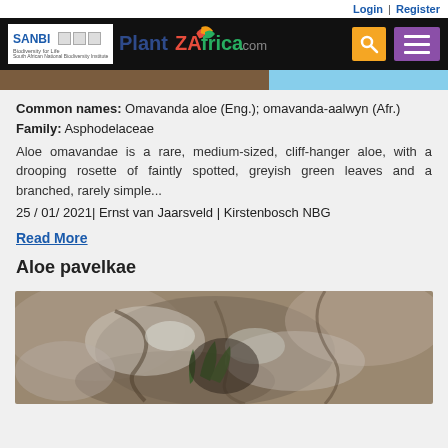Login | Register
[Figure (logo): SANBI PlantZAfrica.com website header with logo, search button, and menu button on black background]
[Figure (photo): Top portion of an aloe plant photo — partial image strip showing brownish and blue sky portions]
Common names: Omavanda aloe (Eng.); omavanda-aalwyn (Afr.)
Family: Asphodelaceae
Aloe omavandae is a rare, medium-sized, cliff-hanger aloe, with a drooping rosette of faintly spotted, greyish green leaves and a branched, rarely simple...
25/01/2021| Ernst van Jaarsveld | Kirstenbosch NBG
Read More
Aloe pavelkae
[Figure (photo): Photo of Aloe pavelkae growing on rocky cliff face, showing a plant with green leaves among grey rocks]